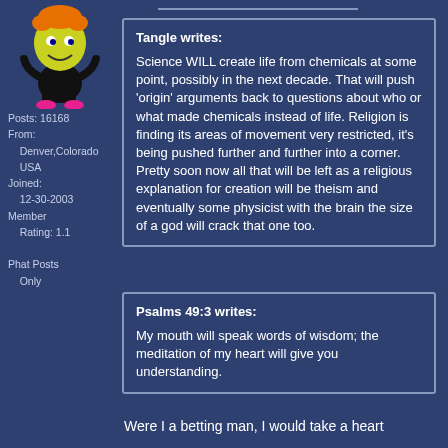[Figure (illustration): Cartoon avatar character - colorful animated figure with yellow head, orange hair, wearing pink shoes, black clothing]
Posts: 16168
From:
    Denver,Colorado
    USA
Joined:
    12-30-2003
Member
    Rating: 1.1

Phat Posts
    Only
Tangle writes:

Science WILL create life from chemicals at some point, possibly in the next decade. That will push 'origin' arguments back to questions about who or what made chemicals instead of life. Religion is finding its areas of movement very restricted, it's being pushed further and further into a corner. Pretty soon now all that will be left as a religious explanation for creation will be theism and eventually some physicist with the brain the size of a god will crack that one too.
Psalms 49:3 writes:

My mouth will speak words of wisdom; the meditation of my heart will give you understanding.
Were I a betting man, I would take a heart